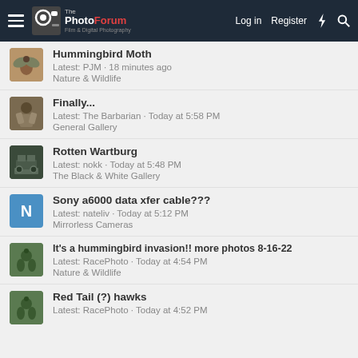The PhotoForum — Log in | Register
Hummingbird Moth — Latest: PJM · 18 minutes ago — Nature & Wildlife
Finally... — Latest: The Barbarian · Today at 5:58 PM — General Gallery
Rotten Wartburg — Latest: nokk · Today at 5:48 PM — The Black & White Gallery
Sony a6000 data xfer cable??? — Latest: nateliv · Today at 5:12 PM — Mirrorless Cameras
It's a hummingbird invasion!! more photos 8-16-22 — Latest: RacePhoto · Today at 4:54 PM — Nature & Wildlife
Red Tail (?) hawks — Latest: RacePhoto · Today at 4:52 PM